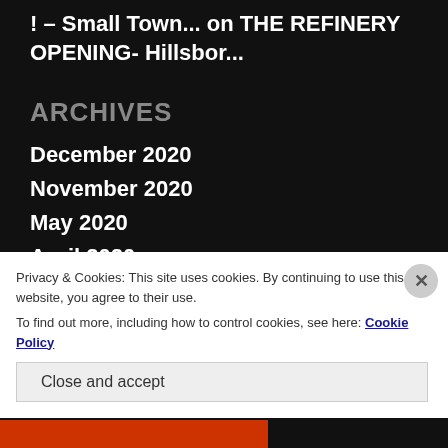! – Small Town... on THE REFINERY OPENING- Hillsbor...
ARCHIVES
December 2020
November 2020
May 2020
April 2020
September 2019
August 2019
Privacy & Cookies: This site uses cookies. By continuing to use this website, you agree to their use.
To find out more, including how to control cookies, see here: Cookie Policy
Close and accept